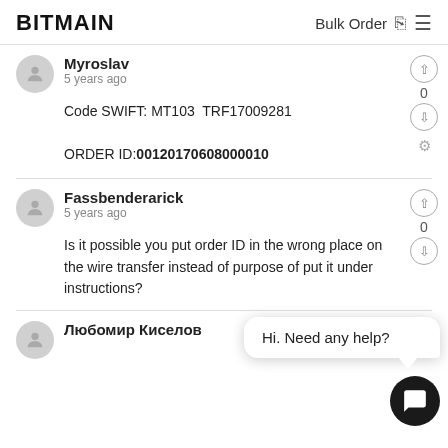BITMAIN | Bulk Order
Myroslav
5 years ago
Code SWIFT: MT103  TRF17009281

ORDER ID:00120170608000010
Fassbenderarick
5 years ago
Is it possible you put order ID in the wrong place on the wire transfer instead of purpose of put it under instructions?
Hi. Need any help?
Любомир Киселов